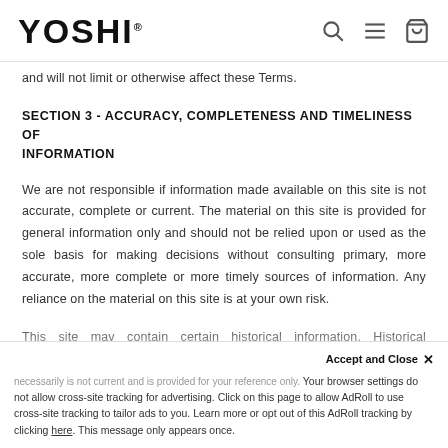YOSHI® [navigation icons: search, menu, bag]
and will not limit or otherwise affect these Terms.
SECTION 3 - ACCURACY, COMPLETENESS AND TIMELINESS OF INFORMATION
We are not responsible if information made available on this site is not accurate, complete or current. The material on this site is provided for general information only and should not be relied upon or used as the sole basis for making decisions without consulting primary, more accurate, more complete or more timely sources of information. Any reliance on the material on this site is at your own risk.
This site may contain certain historical information. Historical information necessarily is not current and is provided for your reference only. You agree that have no obligation to specifically mentioned on our site.
Accept and Close ×
Your browser settings do not allow cross-site tracking for advertising. Click on this page to allow AdRoll to use cross-site tracking to tailor ads to you. Learn more or opt out of this AdRoll tracking by clicking here. This message only appears once.